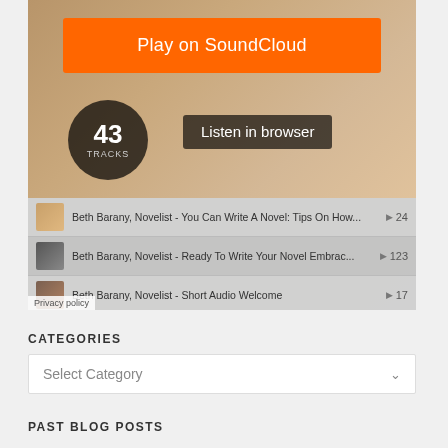[Figure (screenshot): SoundCloud embedded widget showing 'Play on SoundCloud' orange button, track count circle showing 43 tracks, 'Listen in browser' button, and a list of podcast tracks by Beth Barany, Novelist]
Beth Barany, Novelist - You Can Write A Novel: Tips On How... ▶ 24
Beth Barany, Novelist - Ready To Write Your Novel Embrac... ▶ 123
Beth Barany, Novelist - Short Audio Welcome ▶ 17
Beth Barany, Novelist - World Building in Fantasy, a Podcast... ▶ 99
Privacy policy
CATEGORIES
Select Category
PAST BLOG POSTS